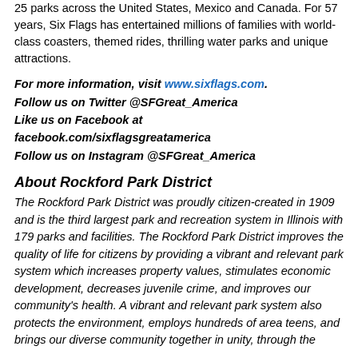25 parks across the United States, Mexico and Canada. For 57 years, Six Flags has entertained millions of families with world-class coasters, themed rides, thrilling water parks and unique attractions.
For more information, visit www.sixflags.com. Follow us on Twitter @SFGreat_America Like us on Facebook at facebook.com/sixflagsgreatamerica Follow us on Instagram @SFGreat_America
About Rockford Park District
The Rockford Park District was proudly citizen-created in 1909 and is the third largest park and recreation system in Illinois with 179 parks and facilities. The Rockford Park District improves the quality of life for citizens by providing a vibrant and relevant park system which increases property values, stimulates economic development, decreases juvenile crime, and improves our community's health. A vibrant and relevant park system also protects the environment, employs hundreds of area teens, and brings our diverse community together in unity, through the